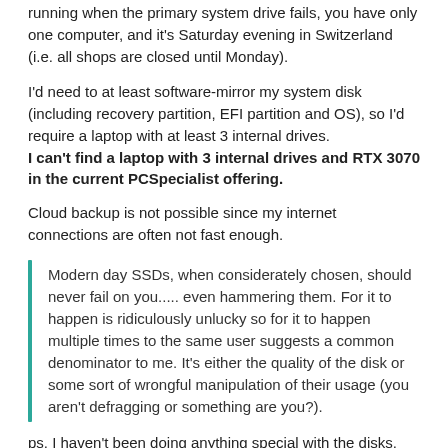running when the primary system drive fails, you have only one computer, and it's Saturday evening in Switzerland (i.e. all shops are closed until Monday).
I'd need to at least software-mirror my system disk (including recovery partition, EFI partition and OS), so I'd require a laptop with at least 3 internal drives. I can't find a laptop with 3 internal drives and RTX 3070 in the current PCSpecialist offering.
Cloud backup is not possible since my internet connections are often not fast enough.
Modern day SSDs, when considerately chosen, should never fail on you..... even hammering them. For it to happen is ridiculously unlucky so for it to happen multiple times to the same user suggests a common denominator to me. It's either the quality of the disk or some sort of wrongful manipulation of their usage (you aren't defragging or something are you?).
ps. I haven't been doing anything special with the disks. They